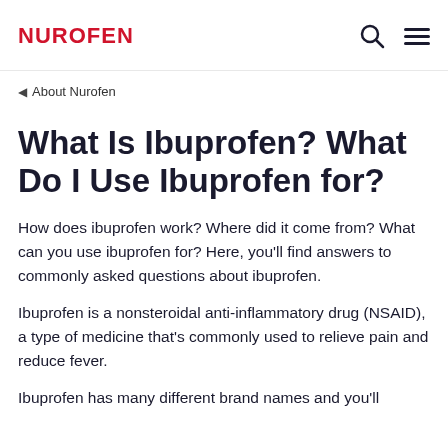NUROFEN
◂ About Nurofen
What Is Ibuprofen? What Do I Use Ibuprofen for?
How does ibuprofen work? Where did it come from? What can you use ibuprofen for? Here, you'll find answers to commonly asked questions about ibuprofen.
Ibuprofen is a nonsteroidal anti-inflammatory drug (NSAID), a type of medicine that's commonly used to relieve pain and reduce fever.
Ibuprofen has many different brand names and you'll